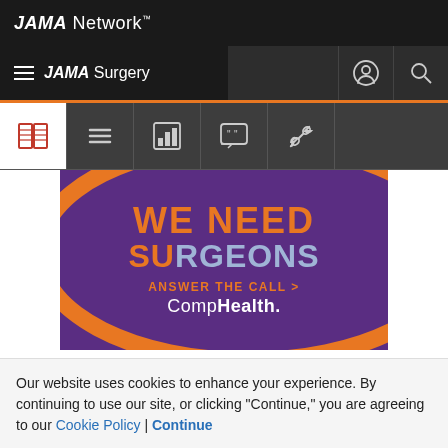JAMA Network
JAMA Surgery
[Figure (illustration): Toolbar with icons: open book (read), hamburger menu, bar chart, quote bubble, link chain]
[Figure (infographic): CompHealth advertisement on purple background with orange arc. Text: WE NEED SURGEONS ANSWER THE CALL > CompHealth.]
THE ENVIRONMENT for the practice of surgery has
Our website uses cookies to enhance your experience. By continuing to use our site, or clicking "Continue," you are agreeing to our Cookie Policy | Continue